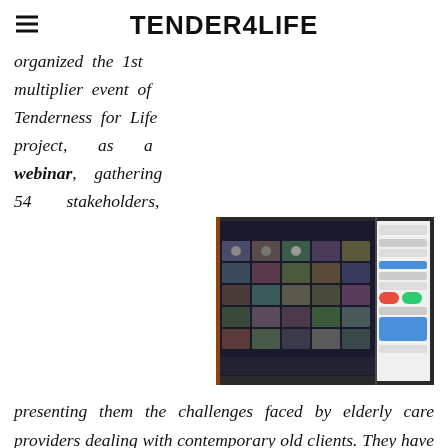TENDER4LIFE
organized the 1st multiplier event of Tenderness for Life project, as a webinar, gathering 54 stakeholders, presenting them the challenges faced by elderly care providers dealing with contemporary old clients. They have also discussed the need to implement a more humanistic approach of the care services, and the added value of the tools developed within the project, namely the online assessment tool and the training program.
[Figure (photo): Screenshot of a video conference call on a laptop screen, showing a grid of participant thumbnails with a sidebar panel visible on the right]